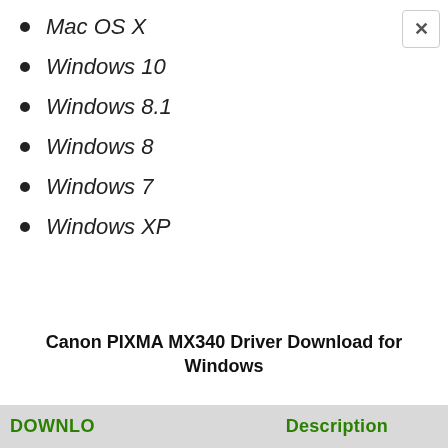Mac OS X
Windows 10
Windows 8.1
Windows 8
Windows 7
Windows XP
Canon PIXMA MX340 Driver Download for Windows
DOWNLO
Description